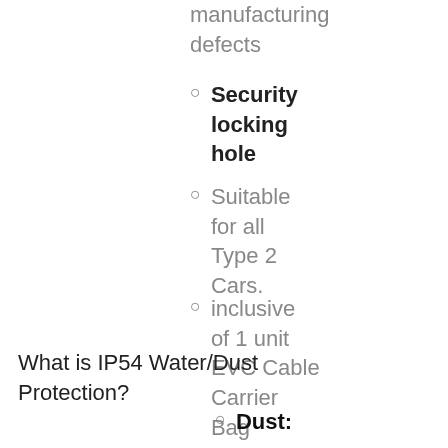manufacturing defects
Security locking hole
Suitable for all Type 2 Cars.
inclusive of 1 unit EVC Cable Carrier Bag
What is IP54 Water/Dust Protection?
Dust: